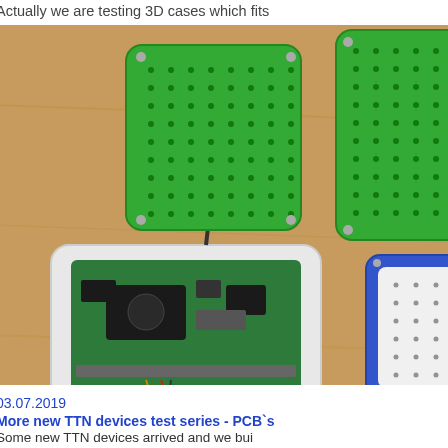Actually we are testing 3D cases which fits
[Figure (photo): Photo of three 3D-printed enclosures for IoT/TTN devices on a wooden surface. One open white case shows a PCB with components and an antenna. Two closed green cases and one blue-and-white case are also visible.]
03.07.2019
More new TTN devices test series - PCB`s
Some new TTN devices arrived and we bui
Also we got 3 maker kits from particle phot